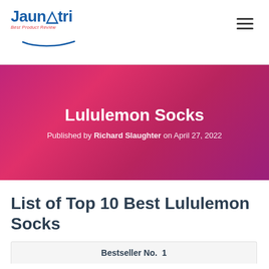Jaunatri — Best Product Review
Lululemon Socks
Published by Richard Slaughter on April 27, 2022
List of Top 10 Best Lululemon Socks
Bestseller No. 1